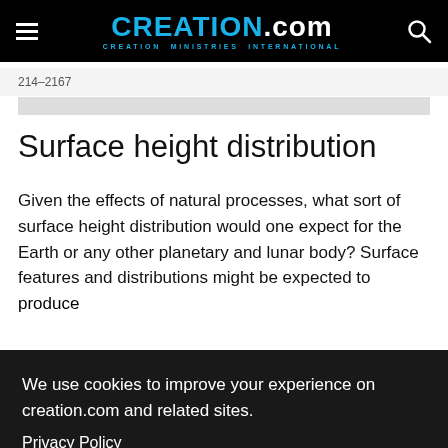CREATION.com — CREATION MINISTRIES INTERNATIONAL
214–2167
Surface height distribution
Given the effects of natural processes, what sort of surface height distribution would one expect for the Earth or any other planetary and lunar body? Surface features and distributions might be expected to produce
We use cookies to improve your experience on creation.com and related sites.
Privacy Policy
Understood
similarly be expected to contribute to a positive skew.